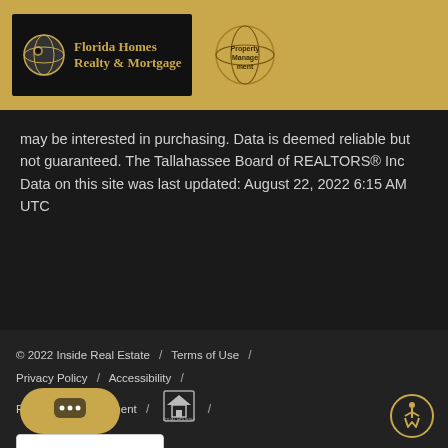[Figure (logo): Florida Homes Realty & Mortgage logo with globe icon on black background, and Property Management globe logo]
may be interested in purchasing. Data is deemed reliable but not guaranteed. The Tallahassee Board of REALTORS® Inc Data on this site was last updated: August 22, 2022 6:15 AM UTC
© 2022 Inside Real Estate / Terms of Use / Privacy Policy / Accessibility / Fair Housing Statement / [Equal Housing Opportunity Logo]
[Figure (other): Google Translate language selector widget]
[Figure (other): Chat button (gold pill with speech bubble dots)]
[Figure (other): Accessibility icon (wheelchair symbol in gold circle)]